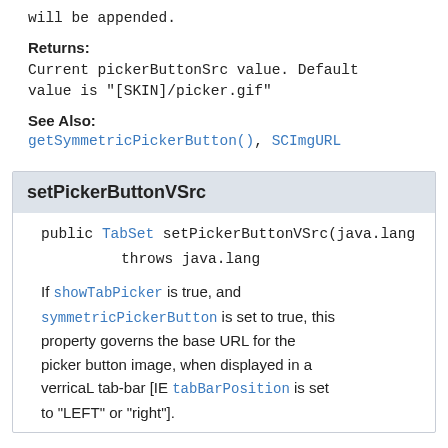will be appended.
Returns:
Current pickerButtonSrc value. Default value is "[SKIN]/picker.gif"
See Also:
getSymmetricPickerButton(), SCImgURL
setPickerButtonVSrc
public TabSet setPickerButtonVSrc(java.lang throws java.lang
If showTabPicker is true, and symmetricPickerButton is set to true, this property governs the base URL for the picker button image, when displayed in a verricaL tab-bar [IE tabBarPosition is set to "LEFT" or "right"].